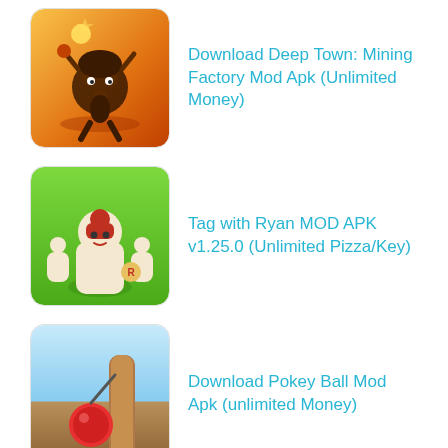Download Deep Town: Mining Factory Mod Apk (Unlimited Money)
Tag with Ryan MOD APK v1.25.0 (Unlimited Pizza/Key)
Download Pokey Ball Mod Apk (unlimited Money)
Ads
NEXT STORY
Top Drives MOD (Unlimited Money)
PREVIOUS STORY
Dragon Raja SEA MOD (Unlimited Money)